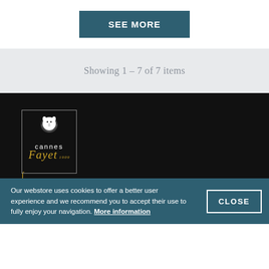SEE MORE
Showing 1 – 7 of 7 items
[Figure (logo): Cannes Fayet logo with lion emblem in a bordered box, 'cannes' text, 'Fayet' in gold italic script, '1909' year]
Sarl Cannes Fayet® SE
Our webstore uses cookies to offer a better user experience and we recommend you to accept their use to fully enjoy your navigation. More information
CLOSE